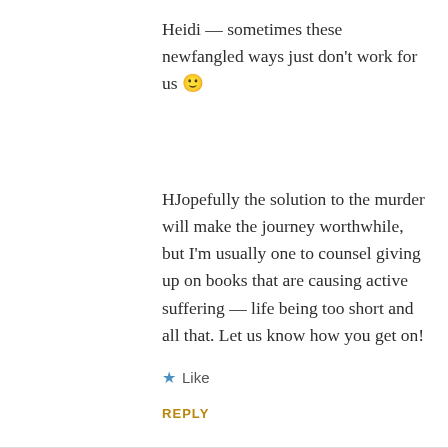Heidi — sometimes these newfangled ways just don't work for us 🙂
HJopefully the solution to the murder will make the journey worthwhile, but I'm usually one to counsel giving up on books that are causing active suffering — life being too short and all that. Let us know how you get on!
★ Like
REPLY